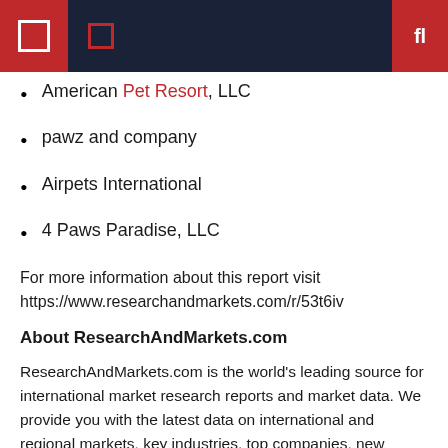[navigation header bar]
American Pet Resort, LLC
pawz and company
Airpets International
4 Paws Paradise, LLC
For more information about this report visit https://www.researchandmarkets.com/r/53t6iv
About ResearchAndMarkets.com
ResearchAndMarkets.com is the world's leading source for international market research reports and market data. We provide you with the latest data on international and regional markets, key industries, top companies, new products and